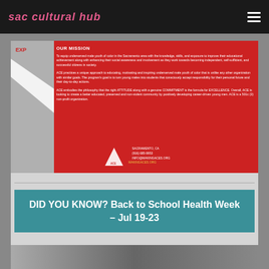sac cultural hub
[Figure (infographic): ACE organization flyer on red background. OUR MISSION heading followed by mission statement text about equipping underserved male youth of color in Sacramento. Includes ACE logo triangle and contact info: SACRAMENTO, CA | (916) 685-9953 | INFO@MAKINGACES.ORG | MAKINGACES.ORG]
DID YOU KNOW? Back to School Health Week – Jul 19-23
[Figure (photo): Bottom photo strip showing people, likely youth]